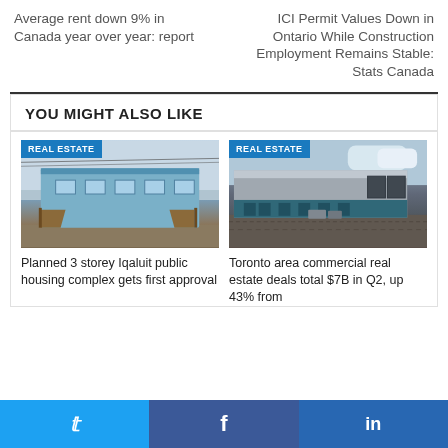Average rent down 9% in Canada year over year: report
ICI Permit Values Down in Ontario While Construction Employment Remains Stable: Stats Canada
YOU MIGHT ALSO LIKE
[Figure (photo): Photo of a blue multi-unit residential building in Iqaluit with wooden stairs, overcast sky]
Planned 3 storey Iqaluit public housing complex gets first approval
[Figure (photo): Photo of a large commercial/industrial warehouse building with dark exterior and gravel parking area]
Toronto area commercial real estate deals total $7B in Q2, up 43% from